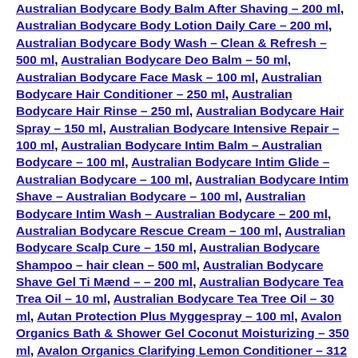Australian Bodycare Body Balm After Shaving – 200 ml, Australian Bodycare Body Lotion Daily Care – 200 ml, Australian Bodycare Body Wash – Clean & Refresh – 500 ml, Australian Bodycare Deo Balm – 50 ml, Australian Bodycare Face Mask – 100 ml, Australian Bodycare Hair Conditioner – 250 ml, Australian Bodycare Hair Rinse – 250 ml, Australian Bodycare Hair Spray – 150 ml, Australian Bodycare Intensive Repair – 100 ml, Australian Bodycare Intim Balm – Australian Bodycare – 100 ml, Australian Bodycare Intim Glide – Australian Bodycare – 100 ml, Australian Bodycare Intim Shave – Australian Bodycare – 100 ml, Australian Bodycare Intim Wash – Australian Bodycare – 200 ml, Australian Bodycare Rescue Cream – 100 ml, Australian Bodycare Scalp Cure – 150 ml, Australian Bodycare Shampoo – hair clean – 500 ml, Australian Bodycare Shave Gel Ti Mænd – – 200 ml, Australian Bodycare Tea Trea Oil – 10 ml, Australian Bodycare Tea Tree Oil – 30 ml, Autan Protection Plus Myggespray – 100 ml, Avalon Organics Bath & Shower Gel Coconut Moisturizing – 350 ml, Avalon Organics Clarifying Lemon Conditioner – 312 Gram, Avalon Organics Clarifying Lemon Shampoo – 325 ml, Avalon Organics Conditioner Argon Oil Damage Control Therapy – 397 G, Avalon Organics Conditioner Coconut Moisturizing – 312 G, Avalon Organics Conditioner Tea Tre Mint Scalp Normalizing – 397 G, Avalon Organics Hand & Body Lotion Coconut Moisturizing – 340 G, Avalon Organics Hand & Bodylotion Peppermint Revitalizing – 340 G, Avalon